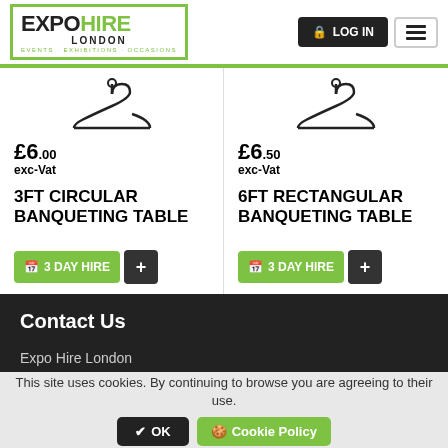EXPO HIRE LONDON - Events · Exhibitions · Occasions | LOG IN
£6.00 exc-Vat
3FT CIRCULAR BANQUETING TABLE
3 DAY HIRE
£6.50 exc-Vat
6FT RECTANGULAR BANQUETING TABLE
3 DAY HIRE
Contact Us
Expo Hire London
Columbia Avenue
Edgware
HA8 5EF
This site uses cookies. By continuing to browse you are agreeing to their use.
OK | Cookie Policy